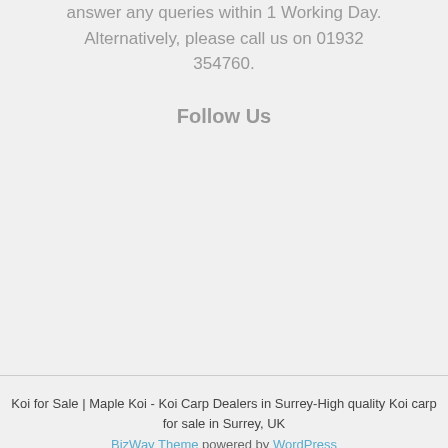answer any queries within 1 Working Day. Alternatively, please call us on 01932 354760.
Follow Us
Koi for Sale | Maple Koi - Koi Carp Dealers in Surrey-High quality Koi carp for sale in Surrey, UK
BizWay Theme powered by WordPress